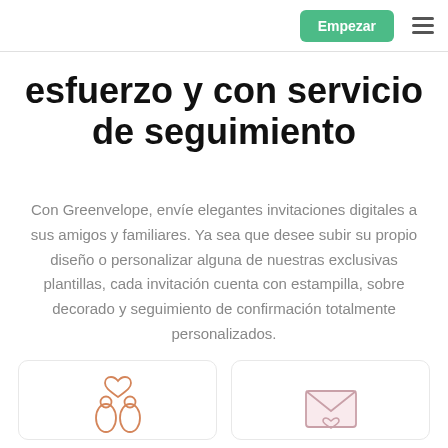Empezar
esfuerzo y con servicio de seguimiento
Con Greenvelope, envíe elegantes invitaciones digitales a sus amigos y familiares. Ya sea que desee subir su propio diseño o personalizar alguna de nuestras exclusivas plantillas, cada invitación cuenta con estampilla, sobre decorado y seguimiento de confirmación totalmente personalizados.
[Figure (illustration): Card with orange line-art illustration of two figures (people/birds) with a heart above them]
[Figure (illustration): Card with pink line-art illustration of an open envelope with a heart]